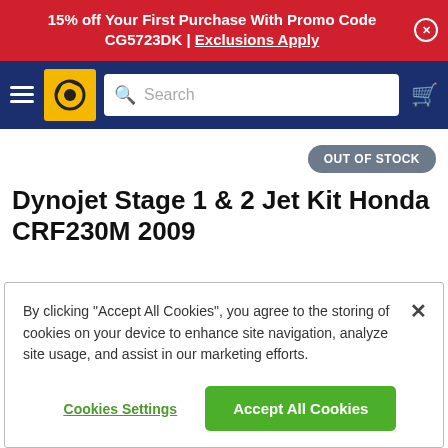15% off Your First Purchase With Promo Code CG5723DK | Exclusions Apply
[Figure (screenshot): Navigation bar with hamburger menu, Dynojet logo, search bar, and cart icon on dark blue background]
OUT OF STOCK
Dynojet Stage 1 & 2 Jet Kit Honda CRF230M 2009
By clicking "Accept All Cookies", you agree to the storing of cookies on your device to enhance site navigation, analyze site usage, and assist in our marketing efforts.
Cookies Settings
Accept All Cookies